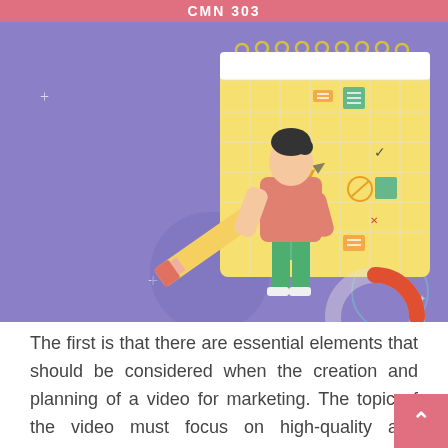CMN 303
[Figure (illustration): A cartoon illustration of a woman holding a large pencil, standing in front of a large calendar/planner. The background is purple/lavender. The calendar has colored sticky notes and checkmarks on it. A partial donut/pie chart is visible in the foreground.]
The first is that there are essential elements that should be considered when the creation and planning of a video for marketing. The topic of the video must focus on high-quality and relevant keywords, and with that main keyword being frequently throughout the course of the proje